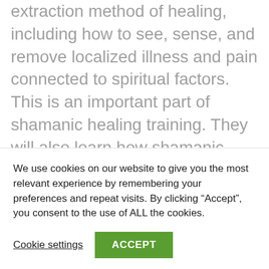extraction method of healing, including how to see, sense, and remove localized illness and pain connected to spiritual factors. This is an important part of shamanic healing training. They will also learn how shamanic practitioners can work in partnership to increase the effectiveness of this work. The Extraction Healing Training
We use cookies on our website to give you the most relevant experience by remembering your preferences and repeat visits. By clicking “Accept”, you consent to the use of ALL the cookies.
Cookie settings
ACCEPT